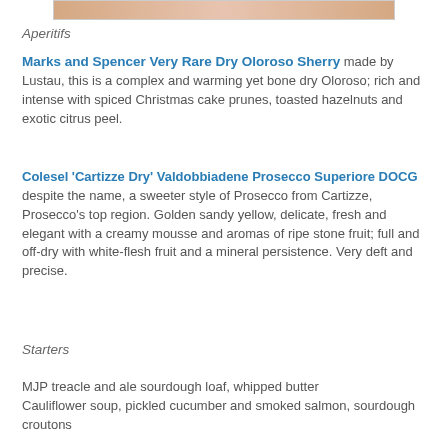[Figure (photo): Partial image of food or drink at top of page]
Aperitifs
Marks and Spencer Very Rare Dry Oloroso Sherry made by Lustau, this is a complex and warming yet bone dry Oloroso; rich and intense with spiced Christmas cake prunes, toasted hazelnuts and exotic citrus peel.
Colesel 'Cartizze Dry' Valdobbiadene Prosecco Superiore DOCG despite the name, a sweeter style of Prosecco from Cartizze, Prosecco's top region. Golden sandy yellow, delicate, fresh and elegant with a creamy mousse and aromas of ripe stone fruit; full and off-dry with white-flesh fruit and a mineral persistence. Very deft and precise.
Starters
MJP treacle and ale sourdough loaf, whipped butter
Cauliflower soup, pickled cucumber and smoked salmon, sourdough croutons